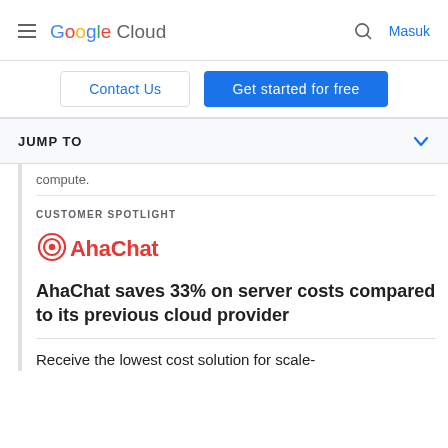Google Cloud — Masuk
Contact Us | Get started for free
JUMP TO
compute.
CUSTOMER SPOTLIGHT
[Figure (logo): AhaChat logo in red with target/bullseye icon]
AhaChat saves 33% on server costs compared to its previous cloud provider
Receive the lowest cost solution for scale-